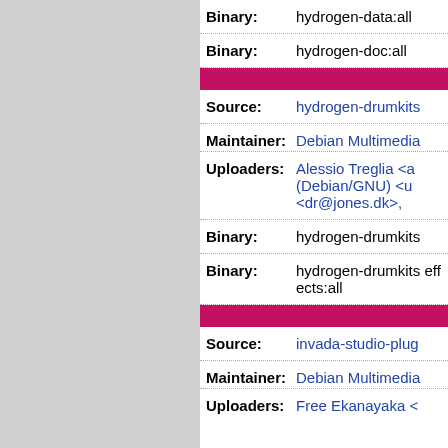| Label | Value |
| --- | --- |
| Binary: | hydrogen-data:all |
| Binary: | hydrogen-doc:all |
| [divider] |  |
| Source: | hydrogen-drumkits |
| Maintainer: | Debian Multimedia |
| Uploaders: | Alessio Treglia <a (Debian/GNU) <u <dr@jones.dk>, |
| Binary: | hydrogen-drumkits |
| Binary: | hydrogen-drumkits effects:all |
| [divider] |  |
| Source: | invada-studio-plug |
| Maintainer: | Debian Multimedia |
| Uploaders: | Free Ekanayaka < |